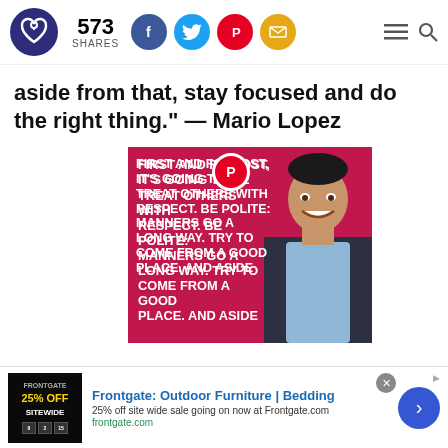573 SHARES — social share icons (Facebook, Twitter, Pinterest, Email) — hamburger menu and search
aside from that, stay focused and do the right thing." — Mario Lopez
[Figure (photo): Crimson/magenta background image with bold white text reading FIRST AND FOREMOST, IT'S GOING TO BE TREAT OTHERS WITH RESPECT. BE POLITE: MANNERS GO A LONG WAY. TRY TO COME FROM A GOOD PLACE. AND ASIDE, overlaid with a Pinterest icon circle, and a smiling man (Mario Lopez) in a dark blazer and light blue shirt on the right side.]
Frontgate: Outdoor Furniture | Bedding
25% off site wide sale going on now at Frontgate.com
frontgate.com